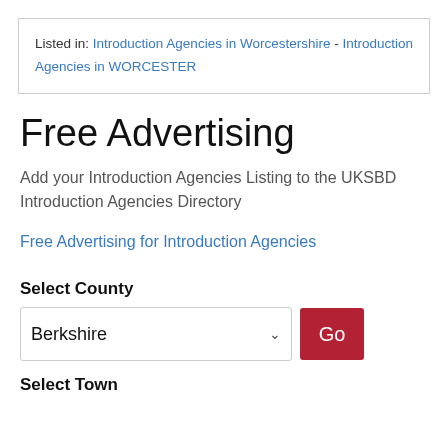Listed in: Introduction Agencies in Worcestershire - Introduction Agencies in WORCESTER
Free Advertising
Add your Introduction Agencies Listing to the UKSBD Introduction Agencies Directory
Free Advertising for Introduction Agencies
Select County
Berkshire
Select Town